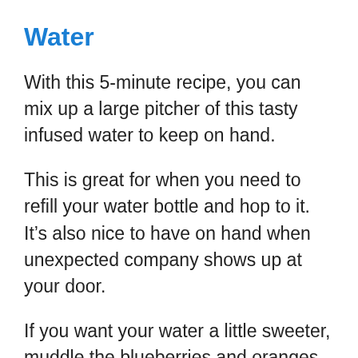Water
With this 5-minute recipe, you can mix up a large pitcher of this tasty infused water to keep on hand.
This is great for when you need to refill your water bottle and hop to it. It's also nice to have on hand when unexpected company shows up at your door.
If you want your water a little sweeter, muddle the blueberries and oranges before adding the water.